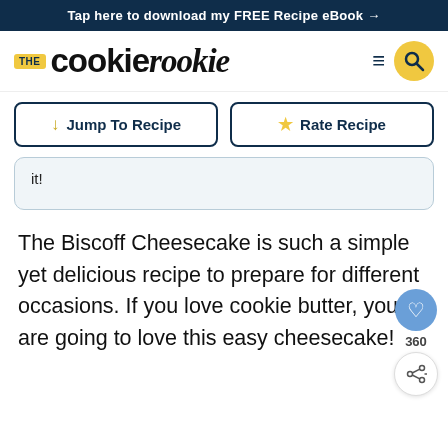Tap here to download my FREE Recipe eBook →
[Figure (logo): The Cookie Rookie logo with hamburger menu and search button]
↓ Jump To Recipe   ★ Rate Recipe
it!
The Biscoff Cheesecake is such a simple yet delicious recipe to prepare for different occasions. If you love cookie butter, you are going to love this easy cheesecake!